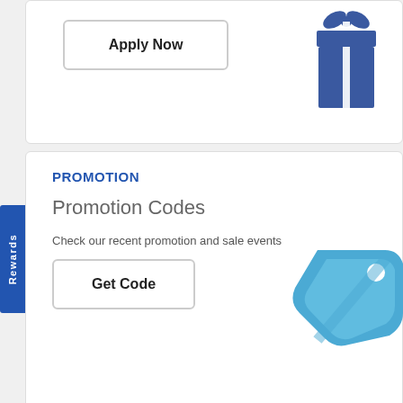[Figure (illustration): Apply Now button with gift box icon on white card (partially visible at top)]
Apply Now
PROMOTION
Promotion Codes
Check our recent promotion and sale events
[Figure (illustration): Get Code button]
Get Code
[Figure (illustration): Blue price tag icon on right side of promotion card]
[Figure (illustration): Rewards vertical sidebar tab in blue]
GET SUPPORT
Open 24 Hours
Get serviced and Supported instantly
[Figure (illustration): Contact Us button with orange shopping cart circle and blue upload square and red phone icon]